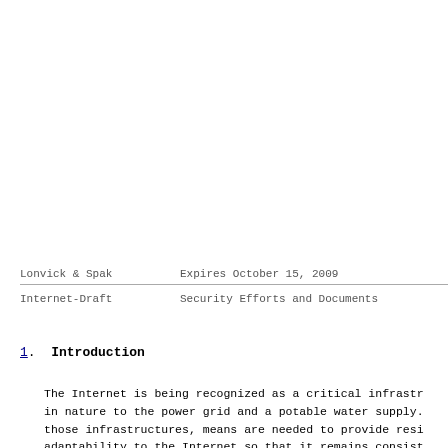Lonvick & Spak                Expires October 15, 2009

Internet-Draft          Security Efforts and Documents
1.  Introduction
The Internet is being recognized as a critical infrastr in nature to the power grid and a potable water supply. those infrastructures, means are needed to provide resi adaptability to the Internet so that it remains consist notifiable to the within the institution of the next